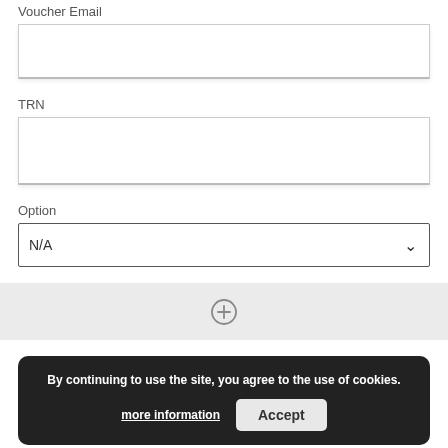Voucher Email
TRN
Option
[Figure (screenshot): Dropdown select field showing 'N/A' with a down arrow chevron]
[Figure (screenshot): Add more button area - gray bar with a circled plus icon]
[Figure (screenshot): Submit button in teal/dark green color]
By continuing to use the site, you agree to the use of cookies.
more information
Accept